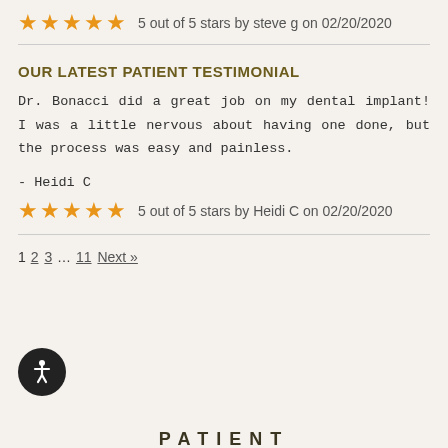[Figure (other): 5 star rating row: 5 orange stars, text '5 out of 5 stars by steve g on 02/20/2020']
OUR LATEST PATIENT TESTIMONIAL
Dr. Bonacci did a great job on my dental implant! I was a little nervous about having one done, but the process was easy and painless.
- Heidi C
[Figure (other): 5 star rating row: 5 orange stars, text '5 out of 5 stars by Heidi C on 02/20/2020']
1 2 3 … 11 Next »
[Figure (other): Accessibility icon button (wheelchair symbol) on dark circular background]
PATIENT